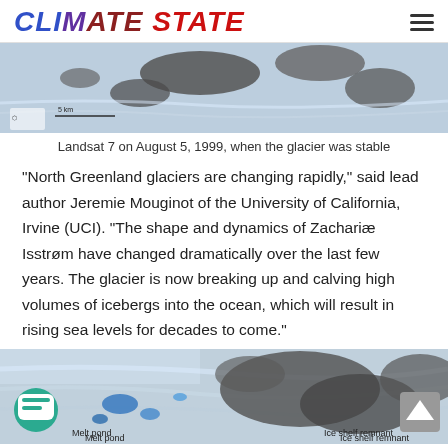CLIMATE STATE
[Figure (photo): Satellite image from Landsat 7 showing Zachariæ Isstrøm glacier in Greenland, August 5, 1999, when the glacier was stable. Shows ice and rocky terrain from above.]
Landsat 7 on August 5, 1999, when the glacier was stable
“North Greenland glaciers are changing rapidly,” said lead author Jeremie Mouginot of the University of California, Irvine (UCI). “The shape and dynamics of Zachariaæ Isstrøm have changed dramatically over the last few years. The glacier is now breaking up and calving high volumes of icebergs into the ocean, which will result in rising sea levels for decades to come.”
[Figure (photo): Satellite image showing Zachariæ Isstrøm glacier with labels for 'Melt pond' and 'Ice shelf remnant', showing blue melt ponds and exposed rocky terrain.]